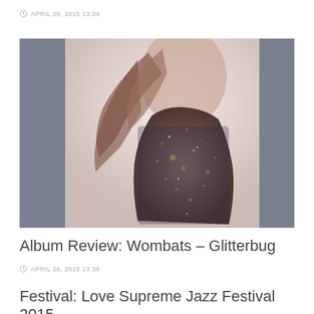APRIL 26, 2015 13:39
[Figure (photo): Double-exposure photo of a person with flowing hair, silhouetted against a light background with city lights overlay, flanked by gray sidebar panels on left and right]
Album Review: Wombats – Glitterbug
APRIL 26, 2015 13:38
Festival: Love Supreme Jazz Festival 2015